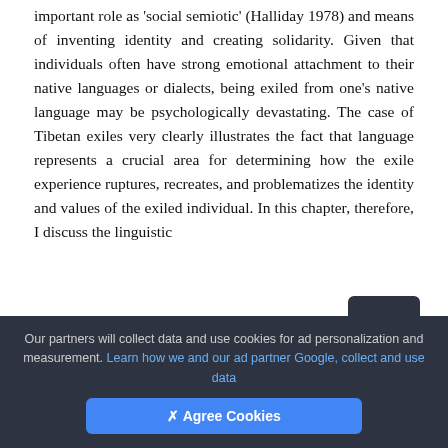important role as 'social semiotic' (Halliday 1978) and means of inventing identity and creating solidarity. Given that individuals often have strong emotional attachment to their native languages or dialects, being exiled from one's native language may be psychologically devastating. The case of Tibetan exiles very clearly illustrates the fact that language represents a crucial area for determining how the exile experience ruptures, recreates, and problematizes the identity and values of the exiled individual. In this chapter, therefore, I discuss the linguistic
The term "exile" is multi-accentual. As Buchung Sonam (2005) explains, it is "a state of physical displacement and longing for the native land, place
Our partners will collect data and use cookies for ad personalization and measurement. Learn how we and our ad partner Google, collect and use data